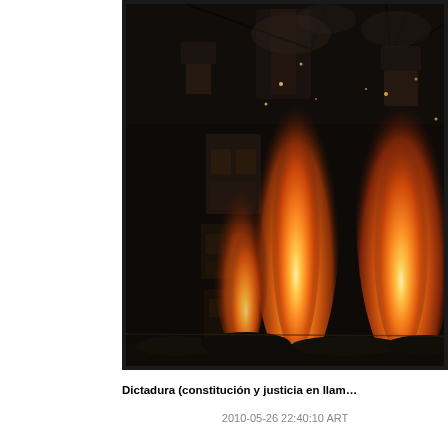[Figure (photo): Night photograph of a large fire with flames and smoke rising from what appears to be structures or objects. The image is dark with bright orange and yellow flames prominently visible in the center and right side. Dark silhouettes of hanging objects and equipment are visible against the flames and dark background.]
Dictadura (constitución y justicia en llam…
2010-05-26 22:40:10 ART